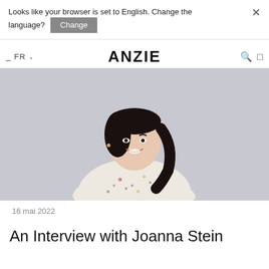Looks like your browser is set to English. Change the language? Change
ANZIE
[Figure (photo): A smiling woman with dark hair wearing a floral/speckled light-colored long-sleeve top, photographed against a light grey background from about waist up.]
16 mai 2022
An Interview with Joanna Stein